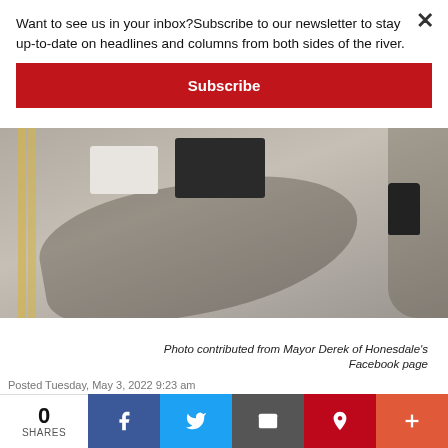Want to see us in your inbox?Subscribe to our newsletter to stay up-to-date on headlines and columns from both sides of the river.
Subscribe
[Figure (photo): Aerial view of parked trucks on a road with tree shadows cast on the pavement, a trash can visible at right, and roadside markings visible at left.]
Photo contributed from Mayor Derek of Honesdale's Facebook page
Posted Tuesday, May 3, 2022 9:23 am
By OWEN WALSH
0 SHARES